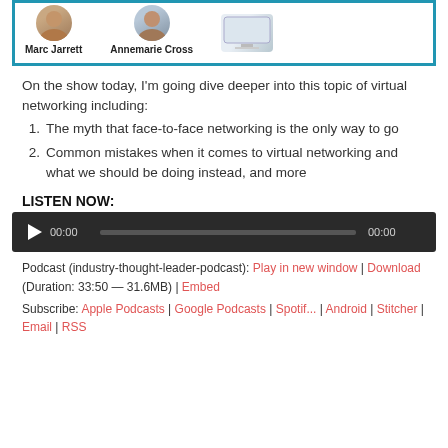[Figure (photo): Top card with photos of Marc Jarrett and Annemarie Cross, plus a device image, inside a teal/blue border]
On the show today, I'm going dive deeper into this topic of virtual networking including:
The myth that face-to-face networking is the only way to go
Common mistakes when it comes to virtual networking and what we should be doing instead, and more
LISTEN NOW:
[Figure (other): Audio player widget with play button, 00:00 timestamps and progress bar on dark background]
Podcast (industry-thought-leader-podcast): Play in new window | Download (Duration: 33:50 — 31.6MB) | Embed
Subscribe: Apple Podcasts | Google Podcasts | Spotify | Android | Stitcher | Email | RSS